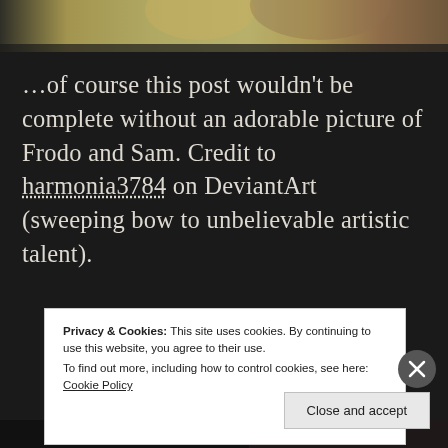[Figure (illustration): Top cropped portion of an illustration showing two figures (Frodo and Sam) with warm yellow-green and brown tones]
…of course this post wouldn't be complete without an adorable picture of Frodo and Sam. Credit to harmonia3784 on DeviantArt (sweeping bow to unbelievable artistic talent).
Privacy & Cookies: This site uses cookies. By continuing to use this website, you agree to their use.
To find out more, including how to control cookies, see here: Cookie Policy
Close and accept